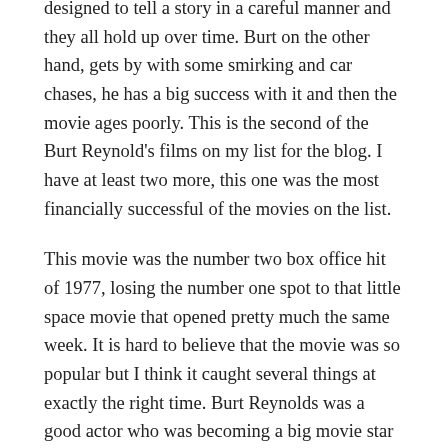designed to tell a story in a careful manner and they all hold up over time. Burt on the other hand, gets by with some smirking and car chases, he has a big success with it and then the movie ages poorly. This is the second of the Burt Reynold's films on my list for the blog. I have at least two more, this one was the most financially successful of the movies on the list.
This movie was the number two box office hit of 1977, losing the number one spot to that little space movie that opened pretty much the same week. It is hard to believe that the movie was so popular but I think it caught several things at exactly the right time. Burt Reynolds was a good actor who was becoming a big movie star and his personality was being included more and more in his movies. Sally Field was on the